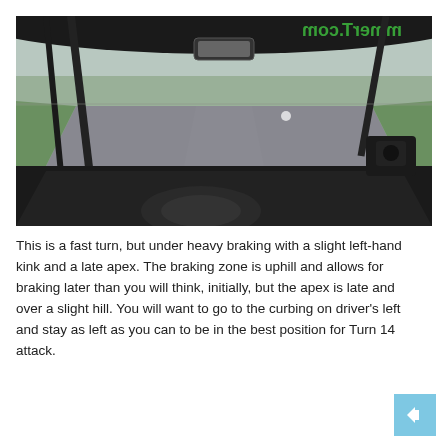[Figure (photo): Interior view from inside a racing car on a track. The photo shows the dashboard, roll cage, rear-view mirror, and a race track ahead with green grass on either side. A mirrored logo reading 'mmerT.com' is visible on the windshield banner.]
This is a fast turn, but under heavy braking with a slight left-hand kink and a late apex. The braking zone is uphill and allows for braking later than you will think, initially, but the apex is late and over a slight hill. You will want to go to the curbing on driver's left and stay as left as you can to be in the best position for Turn 14 attack.